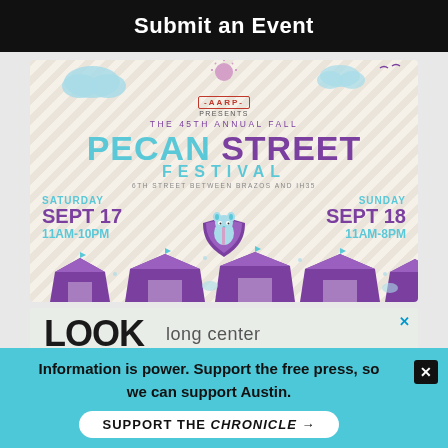Submit an Event
[Figure (illustration): AARP Presents The 45th Annual Fall Pecan Street Festival poster. Saturday Sept 17 11AM-10PM, Sunday Sept 18 11AM-8PM, 6th Street between Brazos and IH35. Features clouds, squirrel mascot, and purple festival tents.]
[Figure (illustration): Partial advertisement showing 'LOOK' text and 'long center' logo with X close button]
Information is power. Support the free press, so we can support Austin.
SUPPORT THE CHRONICLE →